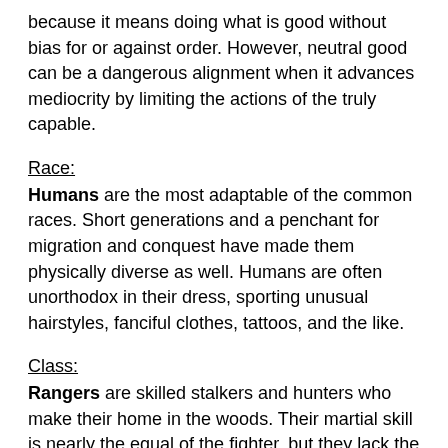because it means doing what is good without bias for or against order. However, neutral good can be a dangerous alignment when it advances mediocrity by limiting the actions of the truly capable.
Race:
Humans are the most adaptable of the common races. Short generations and a penchant for migration and conquest have made them physically diverse as well. Humans are often unorthodox in their dress, sporting unusual hairstyles, fanciful clothes, tattoos, and the like.
Class:
Rangers are skilled stalkers and hunters who make their home in the woods. Their martial skill is nearly the equal of the fighter, but they lack the latter's dedication to the craft of fighting. Instead, the ranger focuses his skills and training on a specific enemy a type of creature he bears a vengeful grudge against and hunts above all others. Rangers often accept the role of protector, aiding those who live in or travel through the woods. His skills allow him to move quietly and stick to the shadows, especially in natural settings, and he